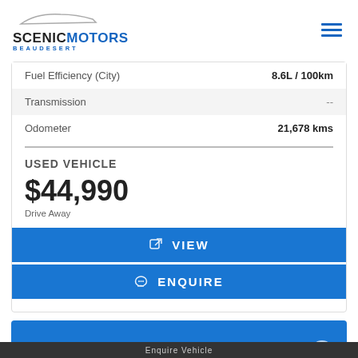SCENIC MOTORS BEAUDESERT
| Attribute | Value |
| --- | --- |
| Fuel Efficiency (City) | 8.6L / 100km |
| Transmission | -- |
| Odometer | 21,678 kms |
USED VEHICLE
$44,990
Drive Away
VIEW
ENQUIRE
2018 Isuzu MU-X Wagon